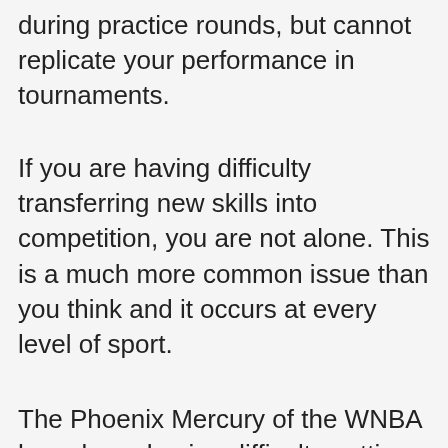during practice rounds, but cannot replicate your performance in tournaments.
If you are having difficulty transferring new skills into competition, you are not alone. This is a much more common issue than you think and it occurs at every level of sport.
The Phoenix Mercury of the WNBA have been having difficulty putting their game together during the 2017 season.
So far, this season, the 7-5 Mercury have had difficulty performing consistently in games and cannot